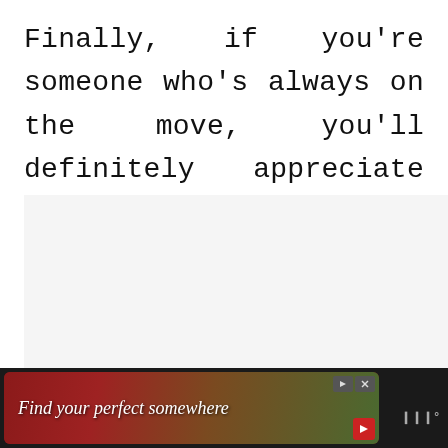Finally, if you're someone who's always on the move, you'll definitely appreciate these ear buds for having up to 8 hours of battery life.
[Figure (screenshot): Gray placeholder area for an embedded image or advertisement with three gray dots indicating a loading/carousel indicator. Floating action buttons on the right: a teal heart/like button, a count of 1, and a share button.]
[Figure (screenshot): Bottom advertisement banner on dark background reading 'Find your perfect somewhere' in italic white text over a travel/outdoor scene image, with play and close controls.]